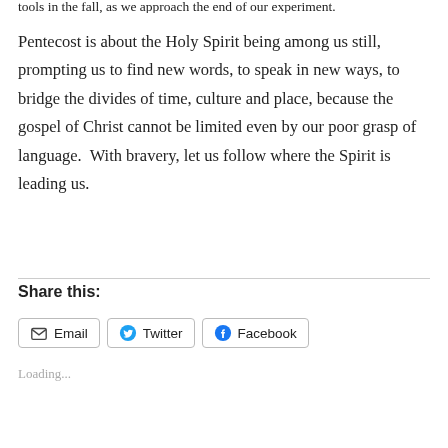tools in the fall, as we approach the end of our experiment.
Pentecost is about the Holy Spirit being among us still, prompting us to find new words, to speak in new ways, to bridge the divides of time, culture and place, because the gospel of Christ cannot be limited even by our poor grasp of language.  With bravery, let us follow where the Spirit is leading us.
Share this:
Loading...
Stewardship Roundup